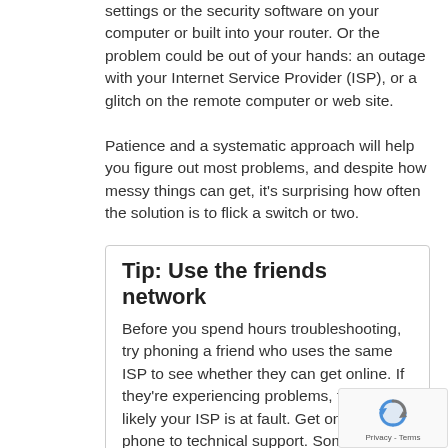settings or the security software on your computer or built into your router. Or the problem could be out of your hands: an outage with your Internet Service Provider (ISP), or a glitch on the remote computer or web site.
Patience and a systematic approach will help you figure out most problems, and despite how messy things can get, it's surprising how often the solution is to flick a switch or two.
Tip: Use the friends network
Before you spend hours troubleshooting, try phoning a friend who uses the same ISP to see whether they can get online. If they're experiencing problems, too, it's likely your ISP is at fault. Get on the phone to technical support. Sometimes, though, an ISP will have a problem which affects only a section of its subscribers. This may be the case with email problems.